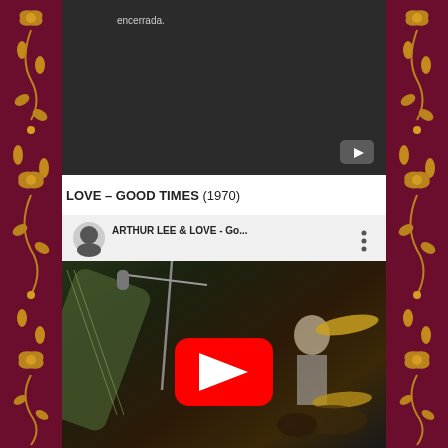[Figure (screenshot): Top portion of a dark/black YouTube video embed showing partial text 'encerrada.' at top left and a YouTube play icon at bottom right]
LOVE – GOOD TIMES (1970)
[Figure (screenshot): YouTube video embed for ARTHUR LEE & LOVE - Go... showing a concert scene with guitarist, microphone stand, drummer with cymbals, and a large red YouTube play button in the center]